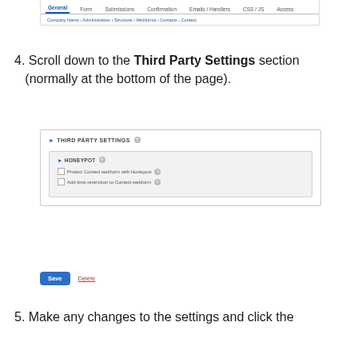[Figure (screenshot): CMS webform settings page showing tab navigation (General selected) and breadcrumb navigation: Company Name > Administration > Structure > Webforms > Contacts > Contact]
4. Scroll down to the Third Party Settings section (normally at the bottom of the page).
[Figure (screenshot): UI screenshot showing Third Party Settings section with a HONEYPOT subsection containing two checkboxes: 'Protect Contact webform with Honeypot' and 'Add time restriction to Contact webform', plus a Save button and Delete link at the bottom.]
5. Make any changes to the settings and click the